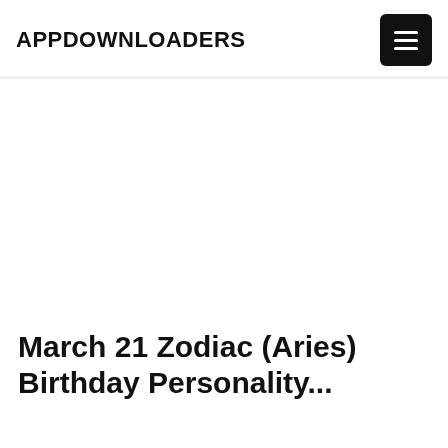APPDOWNLOADERS
[Figure (screenshot): Navigation menu button (hamburger icon) in a dark rounded rectangle on the top right of the page header]
[Figure (other): Advertisement area / blank white space below the navigation bar]
March 21 Zodiac (Aries) Birthday Personality...